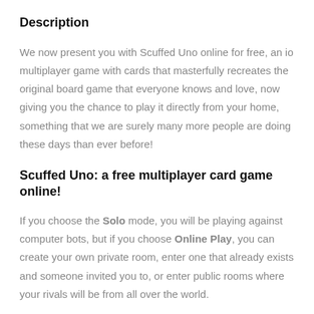Description
We now present you with Scuffed Uno online for free, an io multiplayer game with cards that masterfully recreates the original board game that everyone knows and love, now giving you the chance to play it directly from your home, something that we are surely many more people are doing these days than ever before!
Scuffed Uno: a free multiplayer card game online!
If you choose the Solo mode, you will be playing against computer bots, but if you choose Online Play, you can create your own private room, enter one that already exists and someone invited you to, or enter public rooms where your rivals will be from all over the world.
You can pick to display all the modes in one color and with the